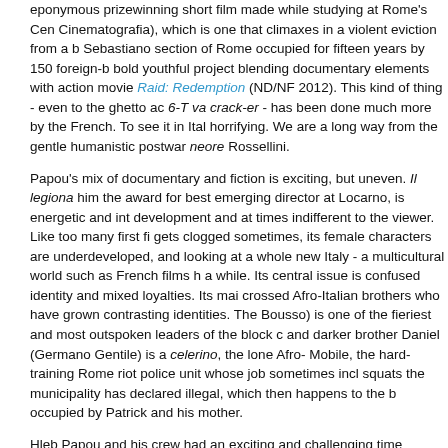eponymous prizewinning short film made while studying at Rome's Cen Cinematografia), which is one that climaxes in a violent eviction from a b Sebastiano section of Rome occupied for fifteen years by 150 foreign-b bold youthful project blending documentary elements with action movie Raid: Redemption (ND/NF 2012). This kind of thing - even to the ghetto ac 6-T va crack-er - has been done much more by the French. To see it in Ital horrifying. We are a long way from the gentle humanistic postwar neore Rossellini.
Papou's mix of documentary and fiction is exciting, but uneven. Il legiona him the award for best emerging director at Locarno, is energetic and int development and at times indifferent to the viewer. Like too many first fi gets clogged sometimes, its female characters are underdeveloped, and looking at a whole new Italy - a multicultural world such as French films h a while. Its central issue is confused identity and mixed loyalties. Its mai crossed Afro-Italian brothers who have grown contrasting identities. The Bousso) is one of the fieriest and most outspoken leaders of the block c and darker brother Daniel (Germano Gentile) is a celerino, the lone Afro- Mobile, the hard-training Rome riot police unit whose job sometimes incl squats the municipality has declared illegal, which then happens to the b occupied by Patrick and his mother.
Hleb Papou and his crew had an exciting and challenging time making a turbulent. Amazingly, the city police lent him men for a time. We see pro combats of fully geared-up, armored, helmeted and masked celerini tha of racist and homophobic epithets to provoke themselves to perform co the block committee engage in hot arguments. The latter are less than st police combat only makes sense, perhaps, when we see Daniel at home